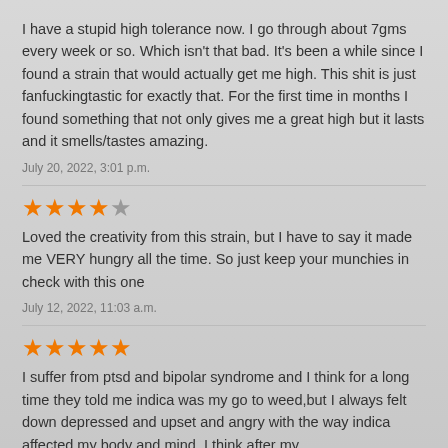I have a stupid high tolerance now. I go through about 7gms every week or so. Which isn't that bad. It's been a while since I found a strain that would actually get me high. This shit is just fanfuckingtastic for exactly that. For the first time in months I found something that not only gives me a great high but it lasts and it smells/tastes amazing.
July 20, 2022, 3:01 p.m.
[Figure (other): 4 filled orange stars and 1 empty/gray star rating]
Loved the creativity from this strain, but I have to say it made me VERY hungry all the time. So just keep your munchies in check with this one
July 12, 2022, 11:03 a.m.
[Figure (other): 5 filled orange stars rating]
I suffer from ptsd and bipolar syndrome and I think for a long time they told me indica was my go to weed,but I always felt down depressed and upset and angry with the way indica affected my body and mind, I think after my